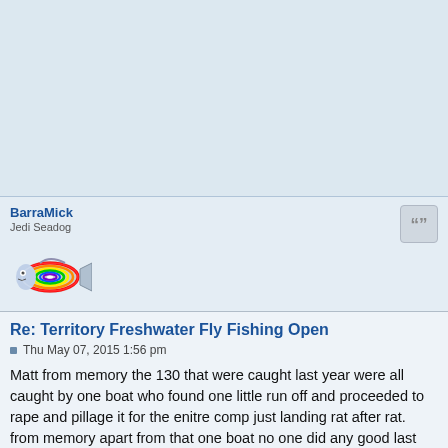[Figure (other): Advertisement/banner area (light blue background)]
BarraMick
Jedi Seadog
[Figure (illustration): Rainbow-colored cartoon fish avatar for user BarraMick]
Re: Territory Freshwater Fly Fishing Open
Thu May 07, 2015 1:56 pm
Matt from memory the 130 that were caught last year were all caught by one boat who found one little run off and proceeded to rape and pillage it for the enitre comp just landing rat after rat. from memory apart from that one boat no one did any good last year as well.